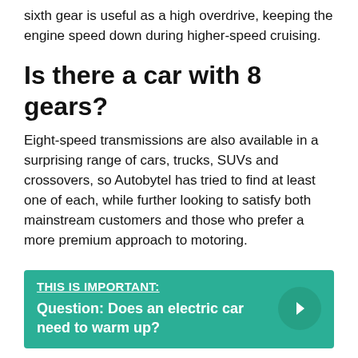sixth gear is useful as a high overdrive, keeping the engine speed down during higher-speed cruising.
Is there a car with 8 gears?
Eight-speed transmissions are also available in a surprising range of cars, trucks, SUVs and crossovers, so Autobytel has tried to find at least one of each, while further looking to satisfy both mainstream customers and those who prefer a more premium approach to motoring.
THIS IS IMPORTANT: Question: Does an electric car need to warm up?